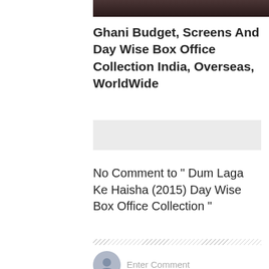[Figure (photo): Partial dark image of a person at the top of the page]
Ghani Budget, Screens And Day Wise Box Office Collection India, Overseas, WorldWide
[Figure (other): Gray advertisement placeholder block]
No Comment to " Dum Laga Ke Haisha (2015) Day Wise Box Office Collection "
[Figure (other): Diagonal hatch divider line]
Enter Comment